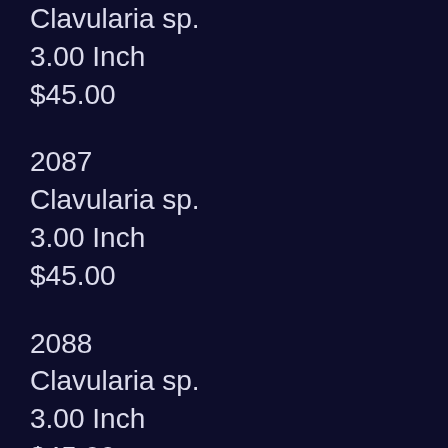Clavularia sp.
3.00 Inch
$45.00
2087
Clavularia sp.
3.00 Inch
$45.00
2088
Clavularia sp.
3.00 Inch
$45.00